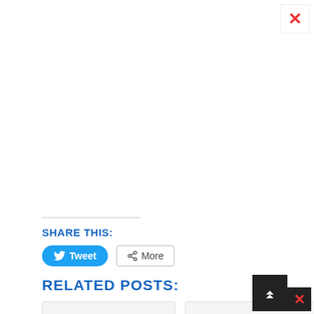[Figure (screenshot): Close (X) button in top-right corner, red X on white/light background]
SHARE THIS:
[Figure (screenshot): Tweet button (blue rounded) and More button (white outlined) for sharing]
RELATED POSTS:
[Figure (screenshot): Two related post cards: 'College of Education' and 'COEAKWANGA Post' with gray label overlays]
[Figure (screenshot): Bottom-right scroll-to-top button (dark background with up arrows) and red X close button]